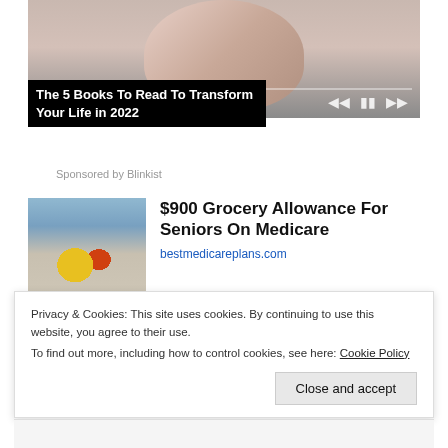[Figure (screenshot): Video player showing a woman's face with playback controls and progress bar]
The 5 Books To Read To Transform Your Life in 2022
Sponsored by Blinkist
[Figure (photo): Crowd of shoppers in a grocery store]
$900 Grocery Allowance For Seniors On Medicare
bestmedicareplans.com
[Figure (photo): Light blue rectangle placeholder image]
Humanoid 'aliens' washes
Privacy & Cookies: This site uses cookies. By continuing to use this website, you agree to their use.
To find out more, including how to control cookies, see here: Cookie Policy
Close and accept